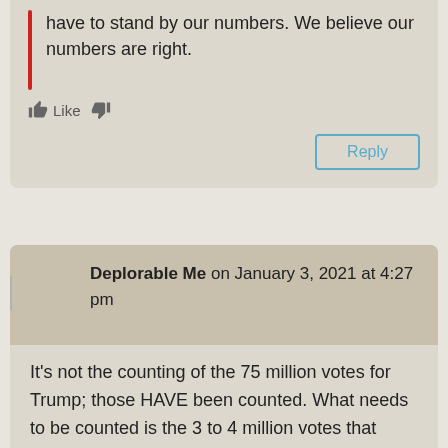have to stand by our numbers. We believe our numbers are right.
Like
Reply
Deplorable Me on January 3, 2021 at 4:27 pm
It's not the counting of the 75 million votes for Trump; those HAVE been counted. What needs to be counted is the 3 to 4 million votes that were changed or